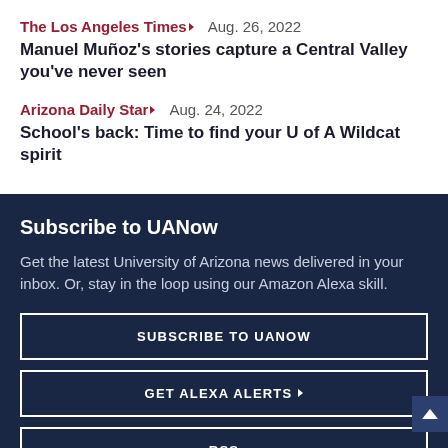The Los Angeles Times▶  Aug. 26, 2022
Manuel Muñoz's stories capture a Central Valley you've never seen
Arizona Daily Star▶  Aug. 24, 2022
School's back: Time to find your U of A Wildcat spirit
Subscribe to UANow
Get the latest University of Arizona news delivered in your inbox. Or, stay in the loop using our Amazon Alexa skill.
SUBSCRIBE TO UANOW
GET ALEXA ALERTS▶
RSS